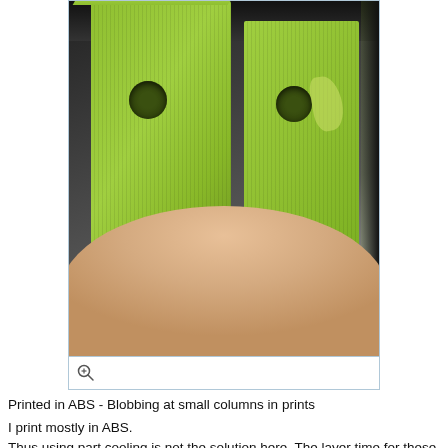[Figure (photo): Close-up photo of two green ABS 3D printed rectangular blocks with circular holes, held by a hand. The right block shows visible blobbing/stringing defect around its hole opening.]
Printed in ABS - Blobbing at small columns in prints
I print mostly in ABS.
Thus using part cooling is not the solution here. The layer time for these small sections might be too little or it could be retraction, but my retraction is perfect